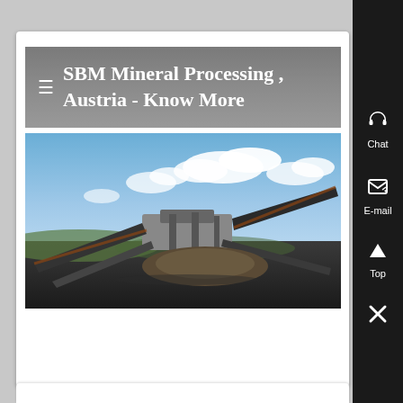≡ SBM Mineral Processing , Austria - Know More
[Figure (photo): Large industrial mineral processing / screening machine (likely a mobile screener or crusher) photographed outdoors on a dark gravel surface under a partly cloudy blue sky. The machine has multiple conveyor belts extending outward at angles.]